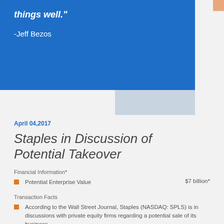things well."
-Jeff Bezos
April 04,2017
Staples in Discussion of Potential Takeover
Financial Information*
Potential Enterprise Value    $7 billion*
Transaction Facts
According to the Wall Street Journal, Staples (NASDAQ: SPLS) is in discussions with private equity firms regarding a potential sale of its business.